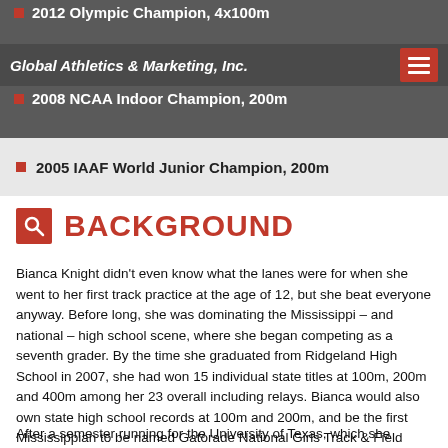2012 Olympic Champion, 4x100m
Global Athletics & Marketing, Inc.
2008 NCAA Indoor Champion, 200m
2005 IAAF World Junior Champion, 200m
BACKGROUND
Bianca Knight didn't even know what the lanes were for when she went to her first track practice at the age of 12, but she beat everyone anyway. Before long, she was dominating the Mississippi – and national – high school scene, where she began competing as a seventh grader. By the time she graduated from Ridgeland High School in 2007, she had won 15 individual state titles at 100m, 200m and 400m among her 23 overall including relays. Bianca would also own state high school records at 100m and 200m, and be the first Mississippian to be named Gatorade National Girls Track & Field Athlete of the Year. Oh yes, and she is the 2005 World Youth Champion at 100m, as well.
After a semester running for the University of Texas, which she